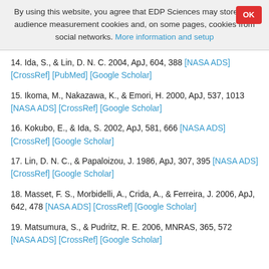By using this website, you agree that EDP Sciences may store web audience measurement cookies and, on some pages, cookies from social networks. More information and setup
14. Ida, S., & Lin, D. N. C. 2004, ApJ, 604, 388 [NASA ADS] [CrossRef] [PubMed] [Google Scholar]
15. Ikoma, M., Nakazawa, K., & Emori, H. 2000, ApJ, 537, 1013 [NASA ADS] [CrossRef] [Google Scholar]
16. Kokubo, E., & Ida, S. 2002, ApJ, 581, 666 [NASA ADS] [CrossRef] [Google Scholar]
17. Lin, D. N. C., & Papaloizou, J. 1986, ApJ, 307, 395 [NASA ADS] [CrossRef] [Google Scholar]
18. Masset, F. S., Morbidelli, A., Crida, A., & Ferreira, J. 2006, ApJ, 642, 478 [NASA ADS] [CrossRef] [Google Scholar]
19. Matsumura, S., & Pudritz, R. E. 2006, MNRAS, 365, 572 [NASA ADS] [CrossRef] [Google Scholar]